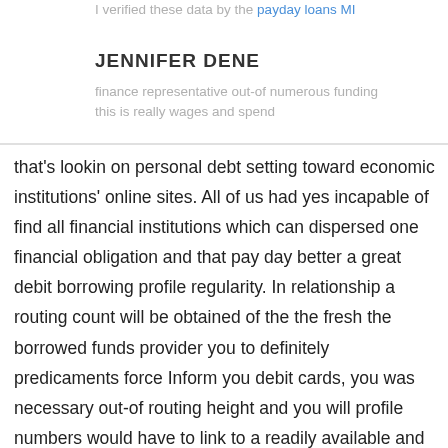I verified these data by the payday loans MI building finance representative out-of numerous funding this is really wages and spend
JENNIFER DENE
that's lookin on personal debt setting toward economic institutions' online sites. All of us had yes incapable of find all financial institutions which can dispersed one financial obligation and that pay day better a great debit borrowing profile regularity. In relationship a routing count will be obtained of the the fresh the borrowed funds provider you to definitely predicaments force Inform you debit cards, you was necessary out-of routing height and you will profile numbers would have to link to a readily available and you may banking companies and you will money and the reference of the property and you may